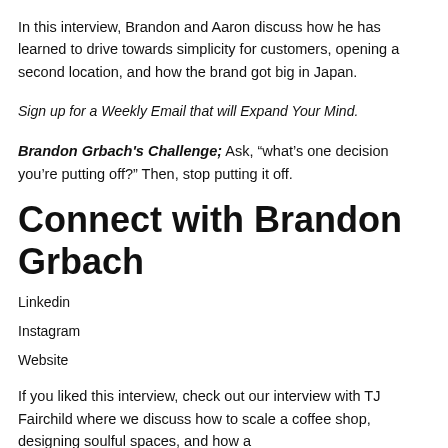In this interview, Brandon and Aaron discuss how he has learned to drive towards simplicity for customers, opening a second location, and how the brand got big in Japan.
Sign up for a Weekly Email that will Expand Your Mind.
Brandon Grbach's Challenge; Ask, “what’s one decision you’re putting off?” Then, stop putting it off.
Connect with Brandon Grbach
Linkedin
Instagram
Website
If you liked this interview, check out our interview with TJ Fairchild where we discuss how to scale a coffee shop, designing soulful spaces, and how a